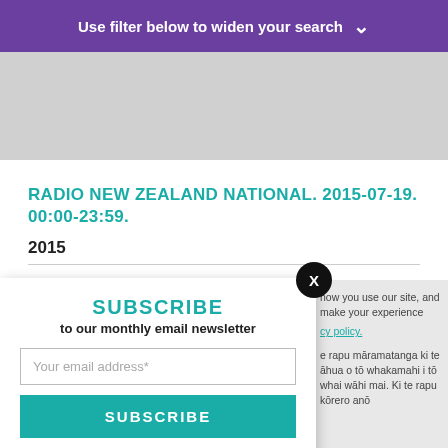Use filter below to widen your search
[Figure (photo): Grey image placeholder area]
RADIO NEW ZEALAND NATIONAL. 2015-07-19. 00:00-23:59.
2015
A 24-hour recording of Radio New Zealand National. The following rundown is sourced from the...
SUBSCRIBE
to our monthly email newsletter
Your email address*
SUBSCRIBE
View previous newsletters.
how you use our site, and make your experience
cy policy.
e rapu māramatanga ki te āhua o tō whakamahi i tō whai wāhi mai. Ki te rapu kōrero anō